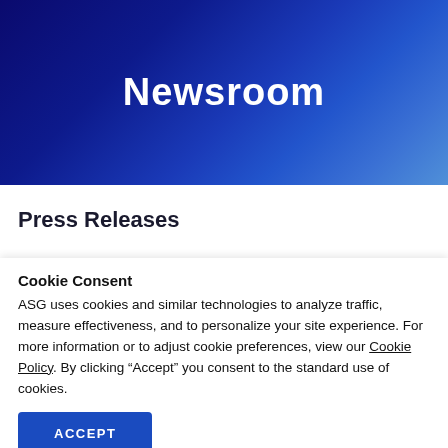[Figure (other): Dark blue gradient hero banner background for the Newsroom page]
Newsroom
Press Releases
Cookie Consent
ASG uses cookies and similar technologies to analyze traffic, measure effectiveness, and to personalize your site experience. For more information or to adjust cookie preferences, view our Cookie Policy. By clicking “Accept” you consent to the standard use of cookies.
ACCEPT